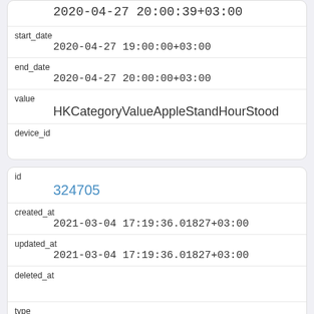| 2020-04-27 20:00:39+03:00 |
| start_date | 2020-04-27 19:00:00+03:00 |
| end_date | 2020-04-27 20:00:00+03:00 |
| value | HKCategoryValueAppleStandHourStood |
| device_id |  |
| id | 324705 |
| created_at | 2021-03-04 17:19:36.01827+03:00 |
| updated_at | 2021-03-04 17:19:36.01827+03:00 |
| deleted_at |  |
| type | HKQuantityTypeIdentifierActiveEnergyBurned |
| source_name |  |